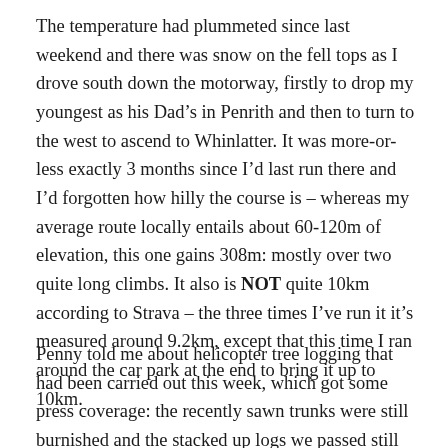The temperature had plummeted since last weekend and there was snow on the fell tops as I drove south down the motorway, firstly to drop my youngest as his Dad’s in Penrith and then to turn to the west to ascend to Whinlatter. It was more-or-less exactly 3 months since I’d last run there and I’d forgotten how hilly the course is – whereas my average route locally entails about 60-120m of elevation, this one gains 308m: mostly over two quite long climbs. It also is NOT quite 10km according to Strava – the three times I’ve run it it’s measured around 9.2km, except that this time I ran around the car park at the end to bring it up to 10km.
Penny told me about helicopter tree logging that had been carried out this week, which got some press coverage: the recently sawn trunks were still burnished and the stacked up logs we passed still had that lovely smell of freshly cut